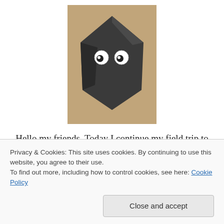[Figure (photo): A dark rock with two googly eyes glued to it, sitting on a light beige surface, giving it a face-like appearance.]
Hello my friends. Today I continue my field trip to Wally World – otherwise known to some as Wal-Mart. I had the best time there playing around and getting into trouble for that matter. I like to refer to my field trip at Wally World as Fun Land USA 🙂
Privacy & Cookies: This site uses cookies. By continuing to use this website, you agree to their use.
To find out more, including how to control cookies, see here: Cookie Policy
Close and accept